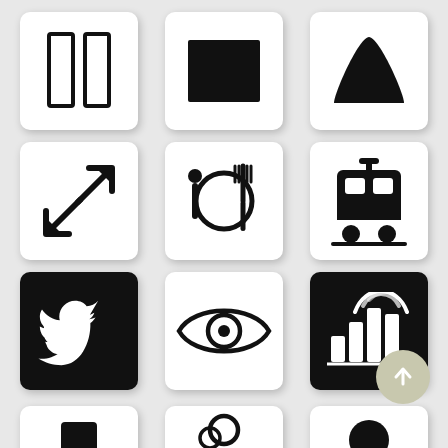[Figure (illustration): Grid of 12 app icons: row 1: open book/pages icon, solid black rectangle/TV icon, mountain/triangle shape icon; row 2: expand/resize arrows icon, plate with fork and spoon icon, subway/train icon; row 3: Twitter bird icon (dark background), eye icon, bar chart with wifi signal icon (dark background); row 4 (partial): top hat icon, person/user icon, profile silhouette icon. Also a circular scroll-up button at bottom right.]